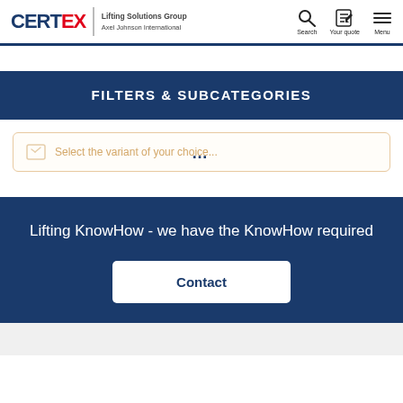CERTEX Lifting Solutions Group / Axel Johnson International — Search | Your quote | Menu
FILTERS & SUBCATEGORIES
Select the variant of your choice...
Lifting KnowHow - we have the KnowHow required
Contact